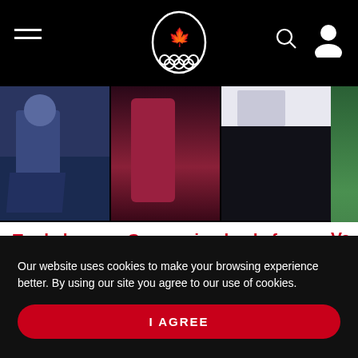Canadian Olympic Committee header with hamburger menu, maple leaf logo, search icon, and user icon
[Figure (photo): Three side-by-side photos: person at podium gesturing, person in red outfit, person in dark formal attire. Partial green image on far right.]
Tewksbury as Companion leads four Olympians appointed to Order of Canada
Paula Nichols • November 27, 2020
Va...
Kea...
Our website uses cookies to make your browsing experience better. By using our site you agree to our use of cookies.
I AGREE